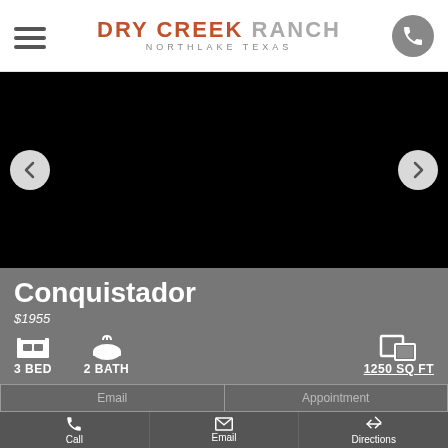DRY CREEK RANCH NORTHLAKE TEXAS
[Figure (screenshot): Black image slider area with left and right navigation arrows on white circular buttons]
Conquistador
$1955
3 BED   2 BATH   1250 SQ FT
Email   Appointment
Call   Email   Directions